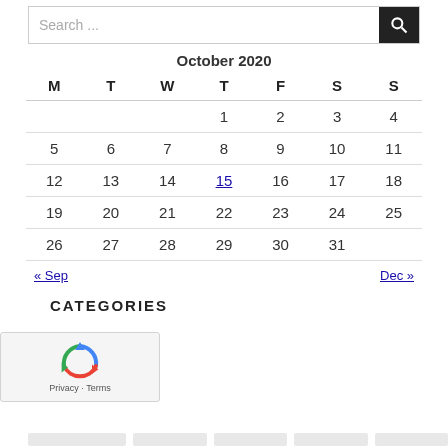[Figure (screenshot): Search box with text 'Search ...' and a black search button with magnifying glass icon]
| M | T | W | T | F | S | S |
| --- | --- | --- | --- | --- | --- | --- |
|  |  |  | 1 | 2 | 3 | 4 |
| 5 | 6 | 7 | 8 | 9 | 10 | 11 |
| 12 | 13 | 14 | 15 | 16 | 17 | 18 |
| 19 | 20 | 21 | 22 | 23 | 24 | 25 |
| 26 | 27 | 28 | 29 | 30 | 31 |  |
« Sep    Dec »
CATEGORIES
[Figure (screenshot): reCAPTCHA widget with recycling arrows logo and Privacy · Terms text]
[Figure (screenshot): Bottom strip placeholder boxes]